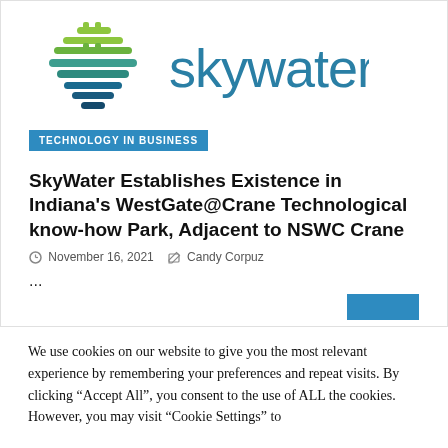[Figure (logo): SkyWater logo: stylized green/teal layered icon on left, 'skywater' in teal sans-serif text on right]
TECHNOLOGY IN BUSINESS
SkyWater Establishes Existence in Indiana's WestGate@Crane Technological know-how Park, Adjacent to NSWC Crane
November 16, 2021   Candy Corpuz
...
We use cookies on our website to give you the most relevant experience by remembering your preferences and repeat visits. By clicking “Accept All”, you consent to the use of ALL the cookies. However, you may visit “Cookie Settings” to